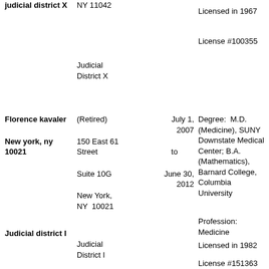judicial district X
NY 11042
Judicial District X
Licensed in 1967
License #100355
Florence kavaler
New york, ny 10021
(Retired)
150 East 61 Street
Suite 10G
New York, NY  10021
July 1, 2007 to June 30, 2012
Degree: M.D. (Medicine), SUNY Downstate Medical Center; B.A. (Mathematics), Barnard College, Columbia University
Profession: Medicine
Licensed in 1982
License #151363
Judicial district I
Judicial District I